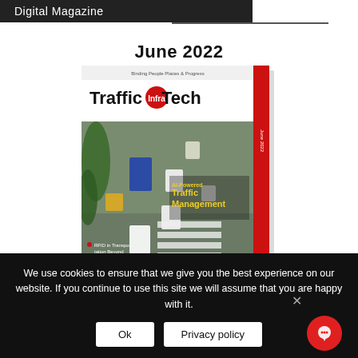Digital Magazine
June 2022
[Figure (photo): Cover of TrafficInfraTech magazine June 2022 issue, showing aerial view of busy intersection with vehicles, with 'AI-Powered Traffic Management' headline and other article teasers. Red vertical strip on right side.]
We use cookies to ensure that we give you the best experience on our website. If you continue to use this site we will assume that you are happy with it.
Ok   Privacy policy